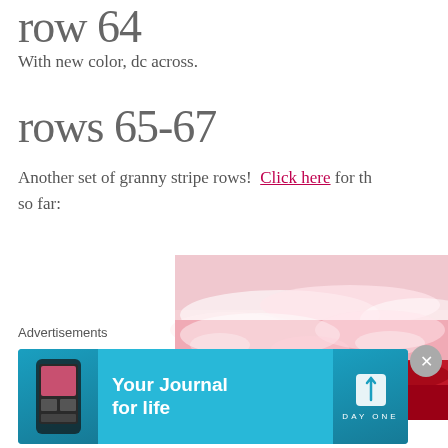row 64
With new color, dc across.
rows 65-67
Another set of granny stripe rows!  Click here for th so far:
[Figure (photo): Close-up photo of pink and white granny stripe crochet work on top of red crochet fabric]
Advertisements
[Figure (screenshot): Day One app advertisement banner: 'Your Journal for life' on blue background with phone mockup and Day One logo]